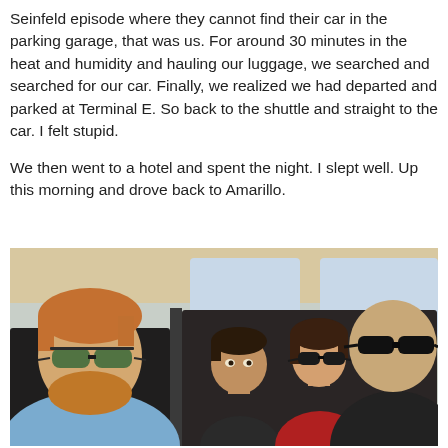Seinfeld episode where they cannot find their car in the parking garage, that was us. For around 30 minutes in the heat and humidity and hauling our luggage, we searched and searched for our car. Finally, we realized we had departed and parked at Terminal E. So back to the shuttle and straight to the car. I felt stupid.

We then went to a hotel and spent the night. I slept well. Up this morning and drove back to Amarillo.
[Figure (photo): Selfie photo of four people inside a car. The driver (left foreground) is a heavyset man with reddish beard and green-tinted sunglasses wearing a light blue shirt. Behind him to the left is a teenage boy. In the back seat is a woman wearing black sunglasses and a red shirt. On the right foreground is a bald man wearing black sunglasses and a dark t-shirt.]